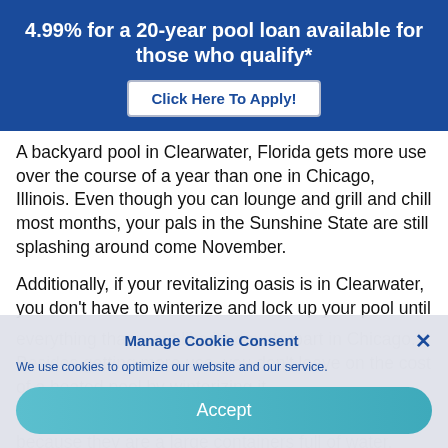4.99% for a 20-year pool loan available for those who qualify*
Click Here To Apply!
A backyard pool in Clearwater, Florida gets more use over the course of a year than one in Chicago, Illinois. Even though you can lounge and grill and chill most months, your pals in the Sunshine State are still splashing around come November.
Additionally, if your revitalizing oasis is in Clearwater, you don't have to winterize and lock up your pool until everything thaws out like its counterpart in Chicago. Besides getting more use, you don't leave on the cost of a heated pool by winterizing it.
2. Does the pool suit the house?
Manage Cookie Consent
We use cookies to optimize our website and our service.
Accept
because they are large containers full of water, pools just generally attract attention. However, they could